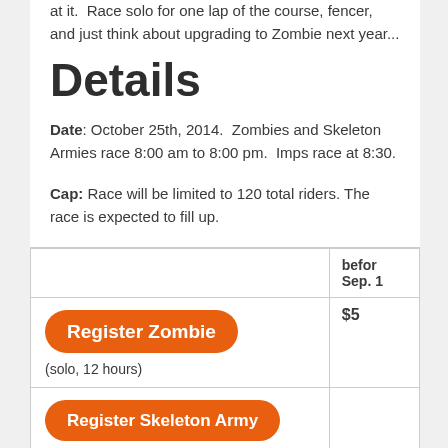at it.  Race solo for one lap of the course, fencer, and just think about upgrading to Zombie next year...
Details
Date: October 25th, 2014.  Zombies and Skeleton Armies race 8:00 am to 8:00 pm.  Imps race at 8:30.
Cap: Race will be limited to 120 total riders. The race is expected to fill up.
|  | before Sep. 1 |
| --- | --- |
| Register Zombie
(solo, 12 hours) | $5 |
| Register Skeleton Army |  |